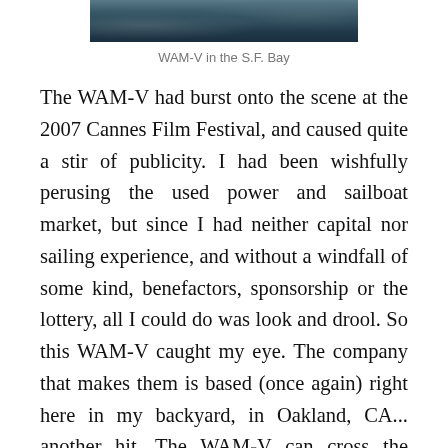[Figure (photo): A photo of the WAM-V vessel on the water, cropped at the top of the page showing part of the hull on S.F. Bay.]
WAM-V in the S.F. Bay
The WAM-V had burst onto the scene at the 2007 Cannes Film Festival, and caused quite a stir of publicity. I had been wishfully perusing the used power and sailboat market, but since I had neither capital nor sailing experience, and without a windfall of some kind, benefactors, sponsorship or the lottery, all I could do was look and drool. So this WAM-V caught my eye. The company that makes them is based (once again) right here in my backyard, in Oakland, CA... another hit. The WAM-V can cross the ocean with a negligible carbon footprint on a SINGLE TANK of bio-diesel (no “rigging” experience necessary, etc.), has auto-pilot (practically remote-controlled, providing ample dreamtime), cool sci-fi design, high ocean-crossing speeds, sustainability, and hi-